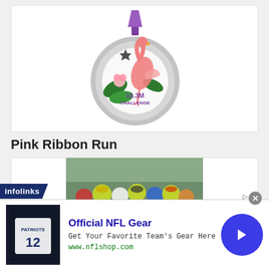[Figure (illustration): A decorative running medal with a flamingo design, featuring text '#FLOCK STAR', '10.3M CHALLENGE', tropical leaves and flowers, on a circular gray medal with a purple ribbon.]
Pink Ribbon Run
[Figure (photo): A crowd of runners at the start or during a road race, wearing colorful running gear.]
infolinks
Official NFL Gear
Get Your Favorite Team's Gear Here
www.nflshop.com